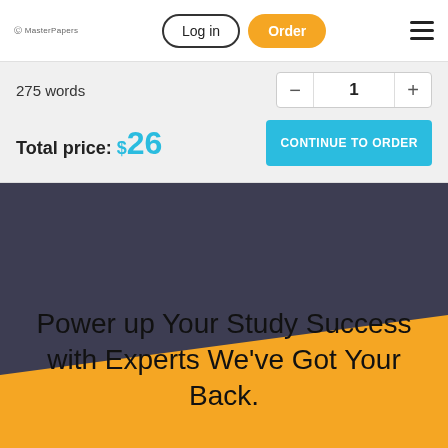Log in | Order
275 words
Total price: $26
CONTINUE TO ORDER
Power up Your Study Success with Experts We've Got Your Back.